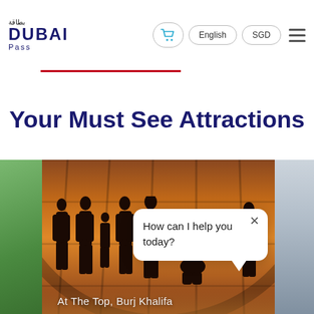[Figure (screenshot): Dubai Pass website navbar with logo, cart icon, English button, SGD button, and hamburger menu]
Your Must See Attractions
[Figure (photo): Photo of silhouettes of people at At The Top, Burj Khalifa observation deck at sunset with large curved windows in background. A chat bubble overlay reads: How can I help you today? with an X close button.]
At The Top, Burj Khalifa